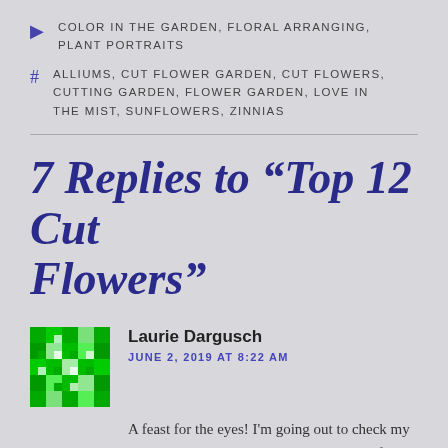COLOR IN THE GARDEN, FLORAL ARRANGING, PLANT PORTRAITS
ALLIUMS, CUT FLOWER GARDEN, CUT FLOWERS, CUTTING GARDEN, FLOWER GARDEN, LOVE IN THE MIST, SUNFLOWERS, ZINNIAS
7 Replies to “Top 12 Cut Flowers”
Laurie Dargusch
JUNE 2, 2019 AT 8:22 AM
A feast for the eyes! I’m going out to check my cutting garden right now. Planted zinnias from seed and they’re coming up beautifully this year.